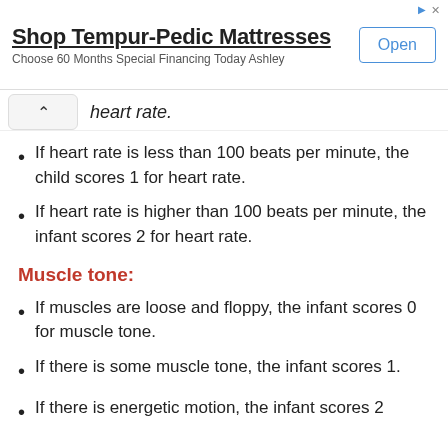[Figure (other): Advertisement banner for Shop Tempur-Pedic Mattresses with Open button]
heart rate.
If heart rate is less than 100 beats per minute, the child scores 1 for heart rate.
If heart rate is higher than 100 beats per minute, the infant scores 2 for heart rate.
Muscle tone:
If muscles are loose and floppy, the infant scores 0 for muscle tone.
If there is some muscle tone, the infant scores 1.
If there is energetic motion, the infant scores 2